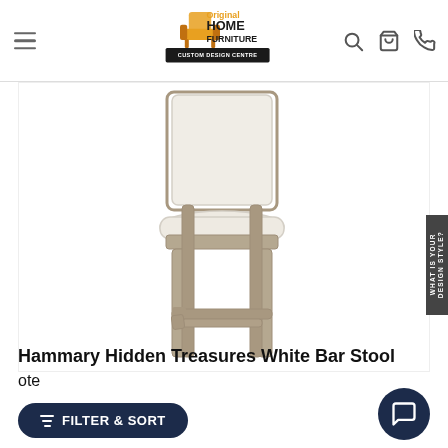[Figure (logo): Original Home Furniture Custom Design Centre logo — orange armchair icon with stylized text]
[Figure (photo): Bar stool with upholstered cream/white seat and back, grey-brown wooden frame and legs with footrest]
Hammary Hidden Treasures White Bar Stool
ote
FILTER & SORT
WHAT IS YOUR DESIGN STYLE?